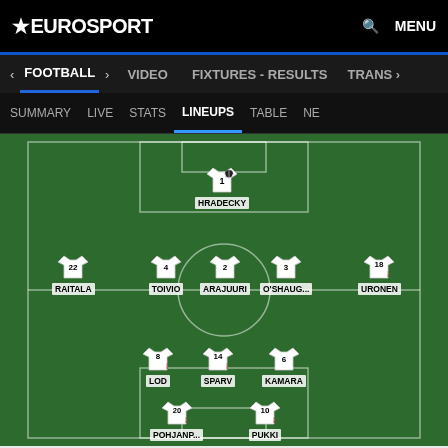EUROSPORT  MENU
FOOTBALL  VIDEO  FIXTURES - RESULTS  TRANS
SUMMARY  LIVE  STATS  LINEUPS  TABLE  NE
[Figure (infographic): Football pitch lineup diagram showing Finland team in a 5-3-2 formation. Goalkeeper: 1 HRADECKY. Defenders: 22 RAITALA, 4 TOIVIO, 2 ARAJUURI, 3 O'SHAUG..., 18 URONEN. Midfielders: 8 LOD, 14 SPARV, 6 KAMARA. Forwards: 20 POHJANP..., 10 PUKKI. Several players have red down arrows indicating substitutions.]